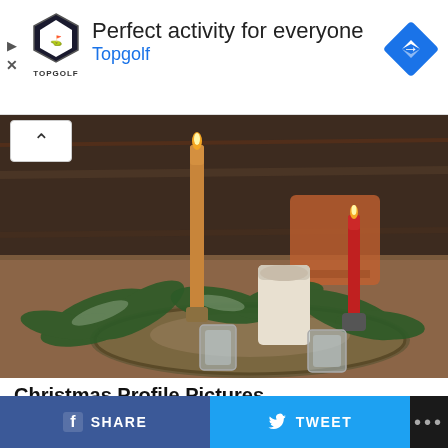[Figure (screenshot): Advertisement banner for Topgolf: logo shield on left, headline 'Perfect activity for everyone', subtext 'Topgolf' in blue, navigation diamond icon on right, play/close icons on far left]
[Figure (photo): Christmas advent wreath centerpiece on a wooden table with candles — a tall orange taper candle, a short red taper candle, a white pillar candle, two glass votives, and pine branch decoration arranged on a woven circular base. Wooden chair and dark wood wall in background.]
Christmas Profile Pictures
Also Read: Best Christmas Tree Images, Photos
[Figure (screenshot): Bottom share bar with Facebook SHARE button in dark blue, Twitter TWEET button in light blue, and a more options (...) button in dark/black]